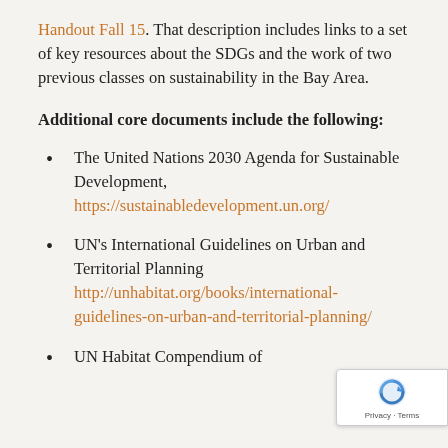Handout Fall 15. That description includes links to a set of key resources about the SDGs and the work of two previous classes on sustainability in the Bay Area.
Additional core documents include the following:
The United Nations 2030 Agenda for Sustainable Development, https://sustainabledevelopment.un.org/
UN's International Guidelines on Urban and Territorial Planning http://unhabitat.org/books/international-guidelines-on-urban-and-territorial-planning/
UN Habitat Compendium of